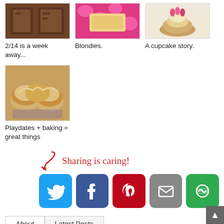[Figure (photo): Thumbnail image of chocolate brownies/bars on a plate]
2/14 is a week away...
[Figure (photo): Thumbnail image of blondies on pink floral background]
Blondies.
[Figure (photo): Thumbnail image of a cupcake with flowers]
A cupcake story.
[Figure (photo): Thumbnail image of cinnamon rolls / pastries on a plate]
Playdates + baking = great things
Sharing is caring!
[Figure (infographic): Social sharing buttons: Twitter, Facebook, Pinterest, Email, Other (green)]
About   Latest Posts
Courtney